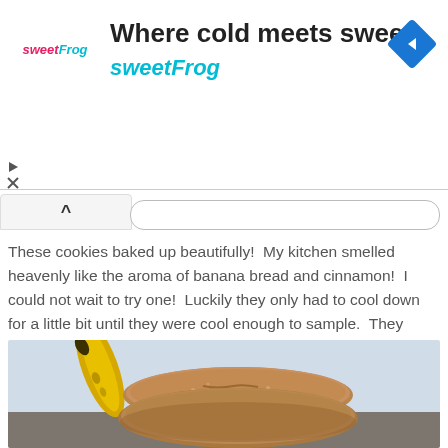[Figure (screenshot): SweetFrog frozen yogurt advertisement banner with logo, headline 'Where cold meets sweet', subtext 'sweetFrog', navigation diamond icon, and collapse/play/close controls]
These cookies baked up beautifully!  My kitchen smelled heavenly like the aroma of banana bread and cinnamon!  I could not wait to try one!  Luckily they only had to cool down for a little bit until they were cool enough to sample.  They were soft sweet and delicious, flavored like banana bread with the texture of a snickerdoodle! If you have some ripe bananas on hand definitely give these Vegan Banana Snickerdoodle Cookies a try!
[Figure (photo): Close-up photo of stacked cinnamon sugar coated vegan banana snickerdoodle cookies with a ripe banana in the background on a light blue surface]